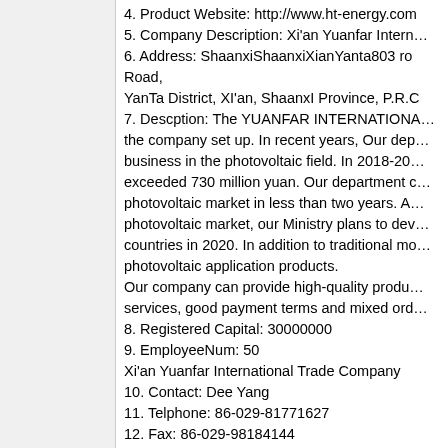4. Product Website: http://www.ht-energy.com 5. Company Description: Xi'an Yuanfar Intern... 6. Address: ShaanxiShaanxiXianYanta803 ro Road, YanTa District, XI'an, ShaanxI Province, P.R.C 7. Descption: The YUANFAR INTERNATIONA... the company set up. In recent years, Our dep... business in the photovoltaic field. In 2018-20... exceeded 730 million yuan. Our department c... photovoltaic market in less than two years. A... photovoltaic market, our Ministry plans to dev... countries in 2020. In addition to traditional mo... photovoltaic application products. Our company can provide high-quality produ... services, good payment terms and mixed ord... 8. Registered Capital: 30000000 9. EmployeeNum: 50 Xi'an Yuanfar International Trade Company 10. Contact: Dee Yang 11. Telphone: 86-029-81771627 12. Fax: 86-029-98184144 13. Email: ht-energy@139.com 14. Company Website: https://www.ht-energy...
Price: $ 10.00
Contact: >>> Log in or register to view all contact data...